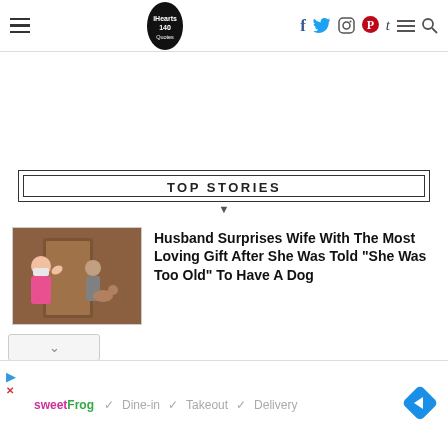iHearts140Quotes — social media navigation header with hamburger menu, logo, social icons (Facebook, Twitter, Instagram, Pinterest, Tumblr), menu, and search
TOP STORIES
[Figure (photo): Thumbnail photo of a child wearing a mask waving, with another person in the background]
Husband Surprises Wife With The Most Loving Gift After She Was Told “She Was Too Old” To Have A Dog
[Figure (other): Advertisement banner: sweetFrog with Dine-in, Takeout, Delivery checkmarks and a blue diamond navigation icon]